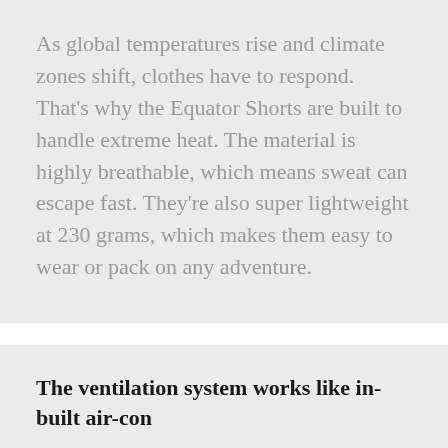As global temperatures rise and climate zones shift, clothes have to respond. That's why the Equator Shorts are built to handle extreme heat. The material is highly breathable, which means sweat can escape fast. They're also super lightweight at 230 grams, which makes them easy to wear or pack on any adventure.
The ventilation system works like in-built air-con
Designed for hot, humid and arid environments, the Equator Shorts are engineered with the same ventilation system as the Equator Shirt. Inside each pocket you'll